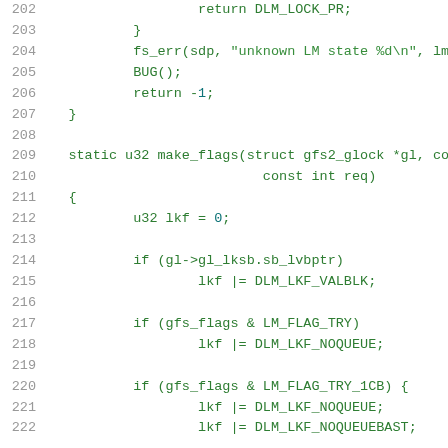[Figure (screenshot): Source code listing in monospace font showing C code for a Linux kernel GFS2 filesystem lock function, lines 202–222. Lines show return statements, closing braces, fs_err call, BUG() call, static function make_flags, variable initialization, and if-statements checking gl_lksb.sb_lvbptr, gfs_flags & LM_FLAG_TRY, and gfs_flags & LM_FLAG_TRY_1CB.]